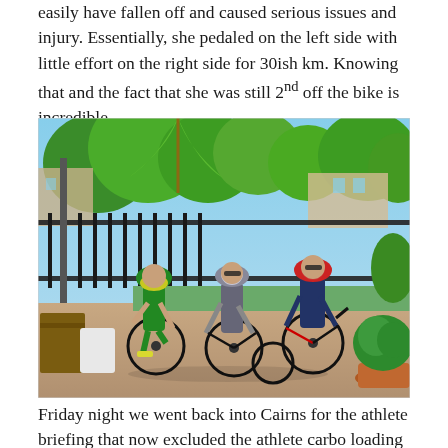easily have fallen off and caused serious issues and injury. Essentially, she pedaled on the left side with little effort on the right side for 30ish km. Knowing that and the fact that she was still 2nd off the bike is incredible.
[Figure (photo): Three cyclists in helmets and cycling gear standing with their bikes on a patio/driveway area, with palm trees, green foliage, fencing, and residential buildings in the background.]
Friday night we went back into Cairns for the athlete briefing that now excluded the athlete carbo loading...